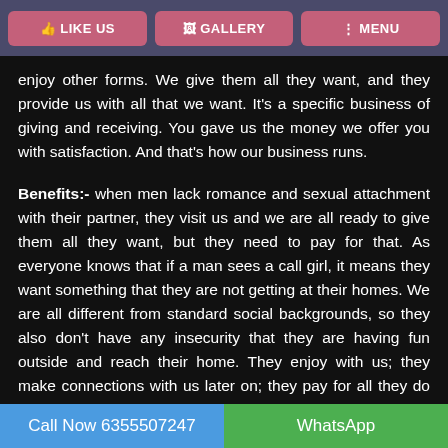LIKE US | GALLERY | MENU
enjoy other forms. We give them all they want, and they provide us with all that we want. It's a specific business of giving and receiving. You gave us the money we offer you with satisfaction. And that's how our business runs.
Benefits:- when men lack romance and sexual attachment with their partner, they visit us and we are all ready to give them all they want, but they need to pay for that. As everyone knows that if a man sees a call girl, it means they want something that they are not getting at their homes. We are all different from standard social backgrounds, so they also don't have any insecurity that they are having fun outside and reach their home. They enjoy with us; they make connections with us later on; they pay for all they do with us and go to their homes happily. Their family will also be happy by seeing a smile on their faces. Once they get relaxed, they don't get
Call Now 6355507247 | WhatsApp